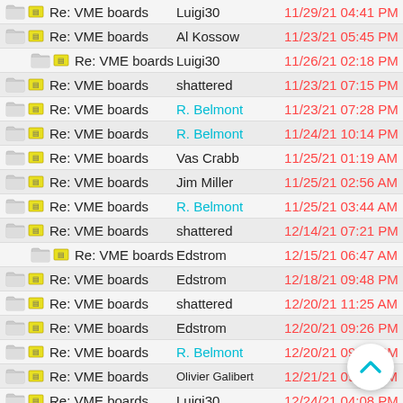Re: VME boards — Luigi30 — 11/29/21 04:41 PM
Re: VME boards — Al Kossow — 11/23/21 05:45 PM
Re: VME boards — Luigi30 — 11/26/21 02:18 PM
Re: VME boards — shattered — 11/23/21 07:15 PM
Re: VME boards — R. Belmont — 11/23/21 07:28 PM
Re: VME boards — R. Belmont — 11/24/21 10:14 PM
Re: VME boards — Vas Crabb — 11/25/21 01:19 AM
Re: VME boards — Jim Miller — 11/25/21 02:56 AM
Re: VME boards — R. Belmont — 11/25/21 03:44 AM
Re: VME boards — shattered — 12/14/21 07:21 PM
Re: VME boards — Edstrom — 12/15/21 06:47 AM
Re: VME boards — Edstrom — 12/18/21 09:48 PM
Re: VME boards — shattered — 12/20/21 11:25 AM
Re: VME boards — Edstrom — 12/20/21 09:26 PM
Re: VME boards — R. Belmont — 12/20/21 09:38 PM
Re: VME boards — Olivier Galibert — 12/21/21 09:01 AM
Re: VME boards — Luigi30 — 12/24/21 04:08 PM